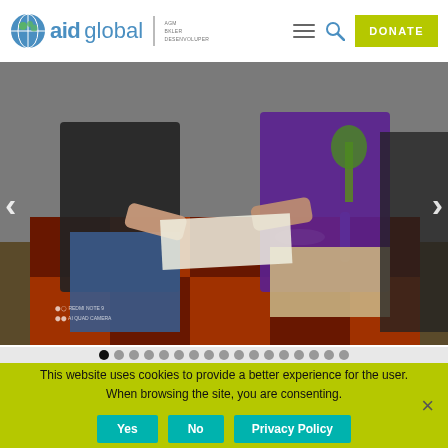[Figure (logo): Aid Global logo with circular green/blue globe icon, text 'aidglobal' in blue, vertical divider, taglines 'AGM BKLER DESENVOLUPER']
[Figure (photo): Photo of two people leaning over a patterned tablecloth-covered table at what appears to be a community event or fair, with food items on the table. A person in black shirt and one in purple shirt are visible. Camera watermark shows 'REDMI NOTE 9 AI QUAD CAMERA'.]
This website uses cookies to provide a better experience for the user. When browsing the site, you are consenting.